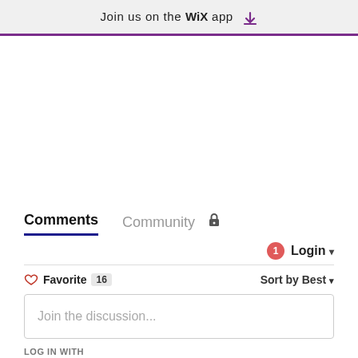Join us on the WiX app ⬇
Comments   Community 🔒
1  Login ▾
♡ Favorite  16    Sort by Best ▾
Join the discussion...
LOG IN WITH
[Figure (other): Social login icons: Disqus (blue speech bubble with D), Facebook (dark blue circle with f), Twitter (light blue circle with bird), Google (red circle with G)]